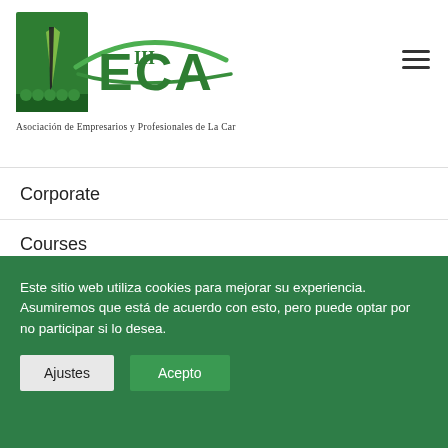[Figure (logo): AECA logo - green square with stylized grass/plant graphic and text 'AECA III', subtitle 'Asociación de Empresarios y Profesionales de La Carlota']
Corporate
Courses
Este sitio web utiliza cookies para mejorar su experiencia. Asumiremos que está de acuerdo con esto, pero puede optar por no participar si lo desea.
Ajustes
Acepto